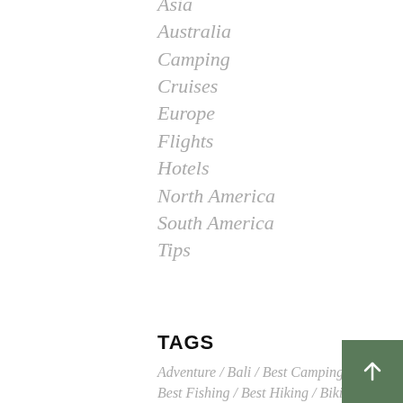Asia
Australia
Camping
Cruises
Europe
Flights
Hotels
North America
South America
Tips
TAGS
Adventure / Bali / Best Camping / Best Fishing / Best Hiking / Biking /